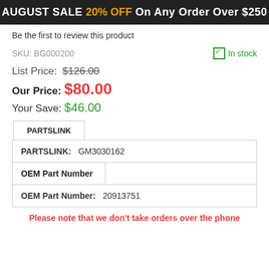AUGUST SALE 20% OFF On Any Order Over $250
Be the first to review this product
SKU: BG000200   ✓ In stock
List Price: $126.00
Our Price: $80.00
Your Save: $46.00
| PARTSLINK: | GM3030162 |
| OEM Part Number |  |
| OEM Part Number: | 20913751 |
Please note that we don't take orders over the phone